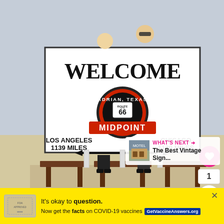[Figure (photo): Two people standing behind and on a large white Route 66 Midpoint sign in Adrian, Texas showing LOS ANGELES 1139 MILES on the left and CHICAGO 1139 MILES on the right with wooden benches in front and desert landscape background]
View more on Instagram
[Figure (screenshot): Yellow advertisement banner: It's okay to question. Now get the facts on COVID-19 vaccines GetVaccineAnswers.org]